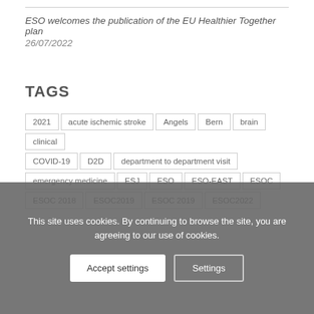ESO welcomes the publication of the EU Healthier Together plan
26/07/2022
TAGS
2021
acute ischemic stroke
Angels
Bern
brain
clinical
COVID-19
D2D
department to department visit
emergency medicine
ESJ
ESO
ESO-EAST
ESOC
ESOC 2018
ESOC2019
ESOC 2019
ESOC2022
This site uses cookies. By continuing to browse the site, you are agreeing to our use of cookies.